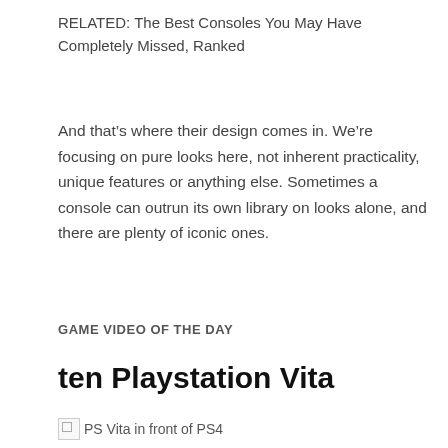RELATED: The Best Consoles You May Have Completely Missed, Ranked
And that’s where their design comes in. We’re focusing on pure looks here, not inherent practicality, unique features or anything else. Sometimes a console can outrun its own library on looks alone, and there are plenty of iconic ones.
GAME VIDEO OF THE DAY
ten Playstation Vita
[Figure (photo): Broken image placeholder with alt text: PS Vita in front of PS4]